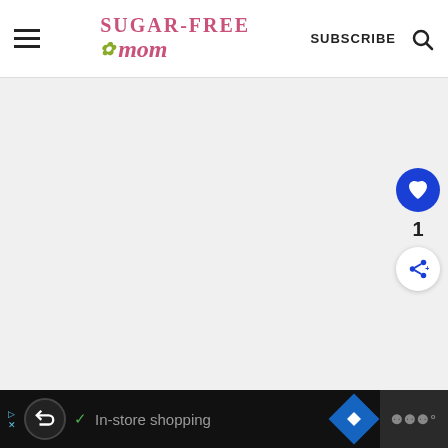[Figure (screenshot): Sugar-Free Mom website header with hamburger menu, logo, SUBSCRIBE link, and search icon]
[Figure (infographic): Orange advertisement banner: 'You can help hungry kids. NO KID HUNGRY LEARN HOW' with close button]
[Figure (screenshot): Gray content area with blue heart/like button showing count 1, and white share button on right side]
[Figure (screenshot): Black bottom bar advertisement with loop icon, checkmark, 'In-store shopping' text, blue diamond navigation icon, and music/app icon on right]